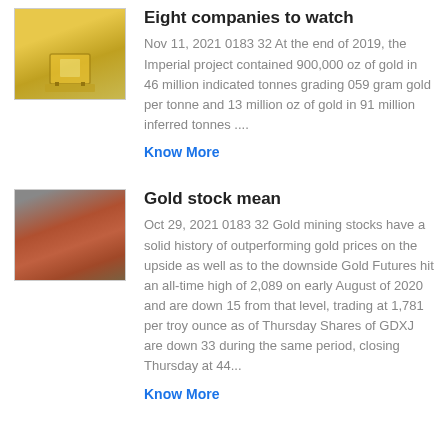[Figure (photo): Industrial equipment photo, yellow machinery]
Eight companies to watch
Nov 11, 2021 0183 32 At the end of 2019, the Imperial project contained 900,000 oz of gold in 46 million indicated tonnes grading 059 gram gold per tonne and 13 million oz of gold in 91 million inferred tonnes ....
Know More
[Figure (photo): Mining or commodity processing photo, reddish ore material]
Gold stock mean
Oct 29, 2021 0183 32 Gold mining stocks have a solid history of outperforming gold prices on the upside as well as to the downside Gold Futures hit an all-time high of 2,089 on early August of 2020 and are down 15 from that level, trading at 1,781 per troy ounce as of Thursday Shares of GDXJ are down 33 during the same period, closing Thursday at 44...
Know More